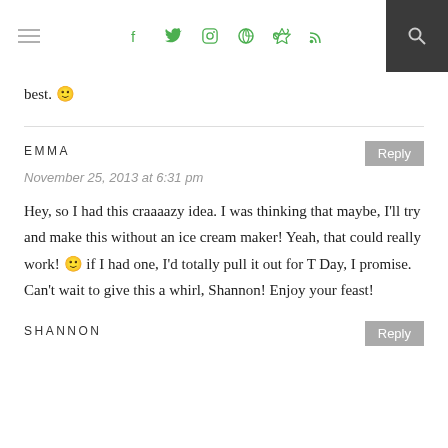Navigation header with hamburger menu, social icons (Facebook, Twitter, Instagram, Pinterest, RSS), and search button
best. 🙂
EMMA
November 25, 2013 at 6:31 pm
Hey, so I had this craaaazy idea. I was thinking that maybe, I'll try and make this without an ice cream maker! Yeah, that could really work! 🙂 if I had one, I'd totally pull it out for T Day, I promise.
Can't wait to give this a whirl, Shannon! Enjoy your feast!
SHANNON